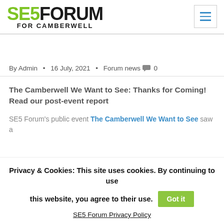SE5 FORUM FOR CAMBERWELL
By Admin • 16 July, 2021 • Forum news 0
The Camberwell We Want to See: Thanks for Coming! Read our post-event report
SE5 Forum's public event The Camberwell We Want to See saw a
Privacy & Cookies: This site uses cookies. By continuing to use this website, you agree to their use. Got it SE5 Forum Privacy Policy